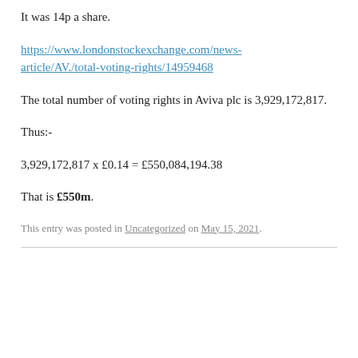It was 14p a share.
https://www.londonstockexchange.com/news-article/AV./total-voting-rights/14959468
The total number of voting rights in Aviva plc is 3,929,172,817.
Thus:-
3,929,172,817 x £0.14 = £550,084,194.38
That is £550m.
This entry was posted in Uncategorized on May 15, 2021.